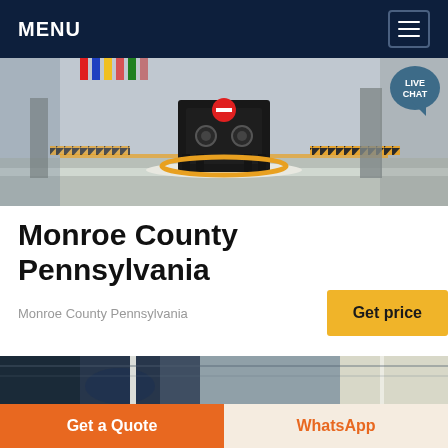MENU
[Figure (photo): Industrial machinery (a heavy press or compactor) on a factory floor surrounded by white pellets, with yellow safety ring, hazard tape, and flags in the background. Live Chat badge visible in upper right.]
Monroe County Pennsylvania
Monroe County Pennsylvania
Get price
[Figure (photo): Close-up industrial/manufacturing scene, partially visible, showing a hand or glove with bright overhead lighting.]
Get a Quote
WhatsApp